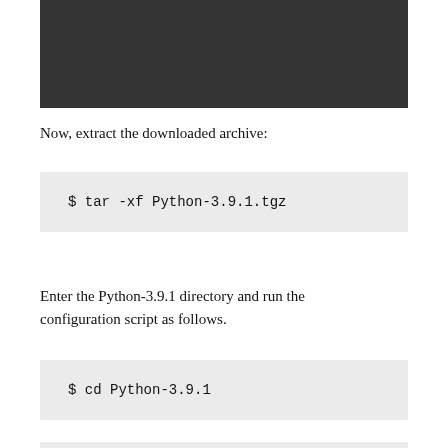[Figure (screenshot): Dark terminal/screenshot block at the top of the page]
Now, extract the downloaded archive:
$ tar -xf Python-3.9.1.tgz
Enter the Python-3.9.1 directory and run the configuration script as follows.
$ cd Python-3.9.1